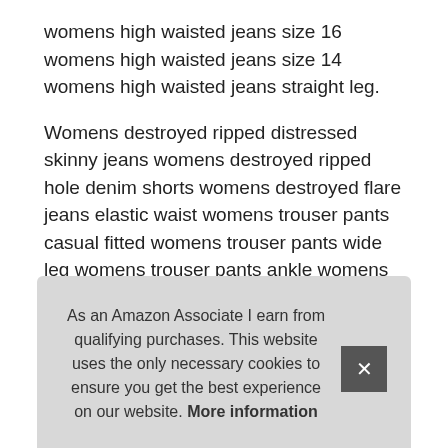womens high waisted jeans size 16 womens high waisted jeans size 14 womens high waisted jeans straight leg.
Womens destroyed ripped distressed skinny jeans womens destroyed ripped hole denim shorts womens destroyed flare jeans elastic waist womens trouser pants casual fitted womens trouser pants wide leg womens trouser pants ankle womens trouser pants long womens trouser pants for work womens trouser pants high waist womens trousers dress pants petite womens trousers dress pants straight leg womens trousers dress pants tall womens trousers dress pants brown womens trouser jeans curvy. Yoga leggings for women squat proof yoga leggings for women high waist yoga leggings for women... high waist... leggings... high... wom... yoga leggings for women yoga leggings for women color block
As an Amazon Associate I earn from qualifying purchases. This website uses the only necessary cookies to ensure you get the best experience on our website. More information